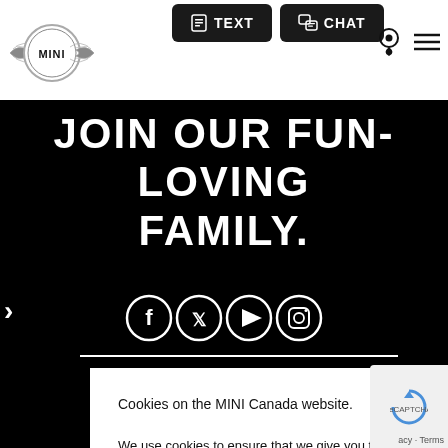[Figure (logo): MINI Cooper winged logo circle badge, top left navigation bar]
[Figure (screenshot): Navigation bar with TEXT and CHAT buttons in dark rounded rectangles, location pin icon, and hamburger menu icon]
JOIN OUR FUN-LOVING FAMILY.
[Figure (infographic): Four social media icons in white circles on black background: Facebook, Twitter/X, YouTube, Instagram]
Cookies on the MINI Canada website.
We use cookies to ensure that we give you the best experience on our website. However, if you would like to, you can change your cookie settings at any time, through your browser settings. You may not disable certain types of cookies that are essential to the operation of our website and that are considered strictly necessary cookies. For example, we use strictly necessary cookies to provide you with regional pricing information. You can find detailed information about how cookies are used on this website by clicking here.